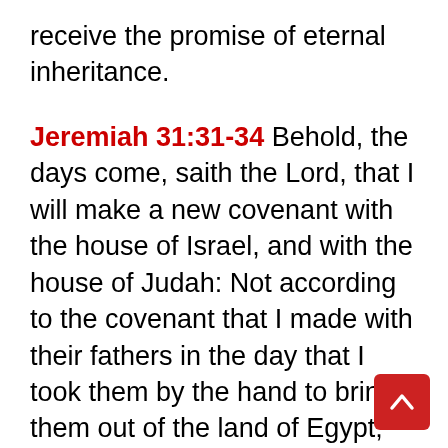receive the promise of eternal inheritance.
Jeremiah 31:31-34 Behold, the days come, saith the Lord, that I will make a new covenant with the house of Israel, and with the house of Judah: Not according to the covenant that I made with their fathers in the day that I took them by the hand to bring them out of the land of Egypt; which my covenant they brake, although I was a husband unto them, saith the Lord:
But this shall be the covenant that I will make with the house of Israel; After those days, saith the Lord, I will put my law in their inward parts, write it in their hearts: and be